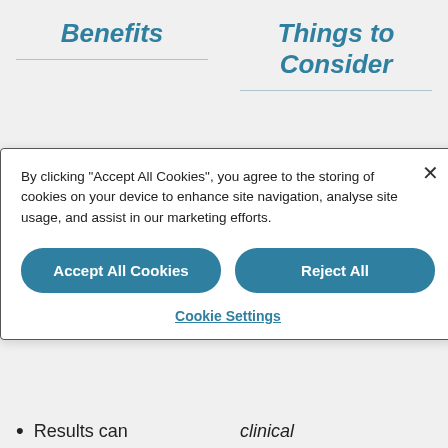Benefits
Things to Consider
Consistent,
By clicking "Accept All Cookies", you agree to the storing of cookies on your device to enhance site navigation, analyse site usage, and assist in our marketing efforts.
Accept All Cookies
Reject All
Cookie Settings
Results can
clinical